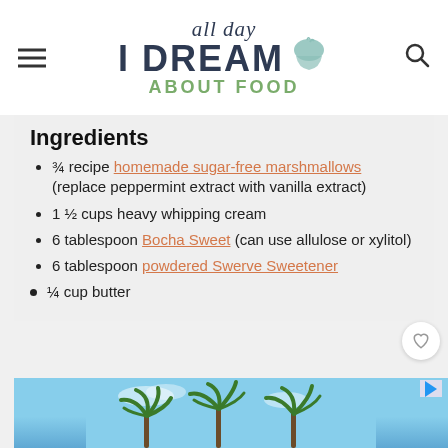all day I DREAM ABOUT FOOD
Ingredients
¾ recipe homemade sugar-free marshmallows (replace peppermint extract with vanilla extract)
1 ½ cups heavy whipping cream
6 tablespoon Bocha Sweet (can use allulose or xylitol)
6 tablespoon powdered Swerve Sweetener
¼ cup butter
[Figure (photo): Advertisement banner showing palm trees against a blue sky]